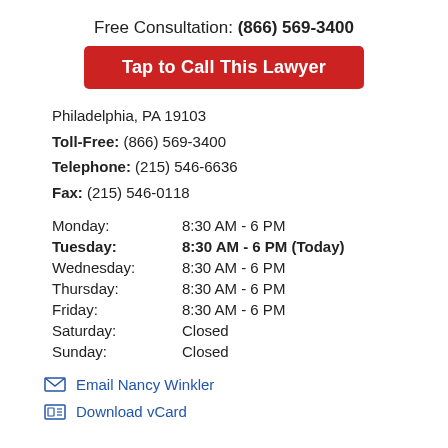Free Consultation: (866) 569-3400
Tap to Call This Lawyer
Philadelphia, PA 19103
Toll-Free: (866) 569-3400
Telephone: (215) 546-6636
Fax: (215) 546-0118
| Monday: | 8:30 AM - 6 PM |
| Tuesday: | 8:30 AM - 6 PM (Today) |
| Wednesday: | 8:30 AM - 6 PM |
| Thursday: | 8:30 AM - 6 PM |
| Friday: | 8:30 AM - 6 PM |
| Saturday: | Closed |
| Sunday: | Closed |
Email Nancy Winkler
Download vCard